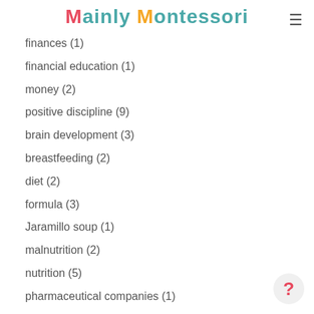Mainly Montessori
finances (1)
financial education (1)
money (2)
positive discipline (9)
brain development (3)
breastfeeding (2)
diet (2)
formula (3)
Jaramillo soup (1)
malnutrition (2)
nutrition (5)
pharmaceutical companies (1)